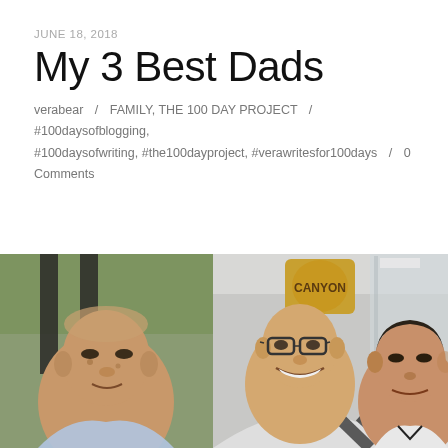JUNE 18, 2018
My 3 Best Dads
verabear / FAMILY, THE 100 DAY PROJECT / #100daysofblogging, #100daysofwriting, #the100dayproject, #verawritesfor100days / 0 Comments
[Figure (photo): Photo of three men shown side by side: an older Asian man on the left, a smiling man with glasses in the middle, and a younger Asian man on the right, inside what appears to be a restaurant setting.]